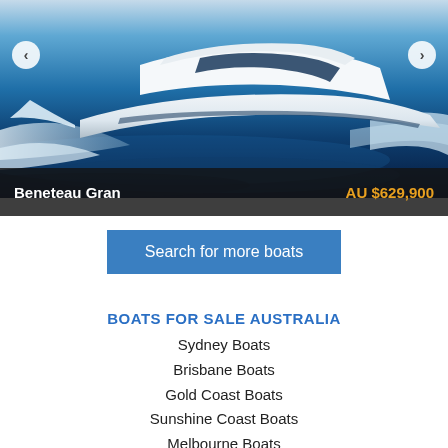[Figure (photo): A white speedboat (Beneteau Gran) speeding across dark blue ocean water with white wake spray, photographed from the front-right angle. Navigation arrows on left and right sides.]
Beneteau Gran   AU $629,900
Search for more boats
BOATS FOR SALE AUSTRALIA
Sydney Boats
Brisbane Boats
Gold Coast Boats
Sunshine Coast Boats
Melbourne Boats
Boats Perth
Adelaide Boats
Tasmania Boats
Darwin Boats